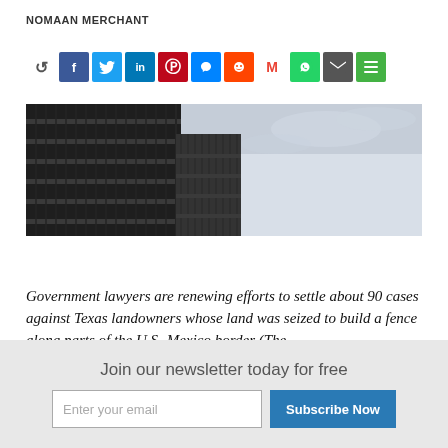NOMAAN MERCHANT
[Figure (other): Social share bar with icons: retweet, Facebook, Twitter, LinkedIn, Pinterest, Messenger, Reddit, Gmail, WhatsApp, Email, Menu]
[Figure (photo): Photo of a tall dark metal border fence/wall against a light cloudy sky, U.S.-Mexico border]
Government lawyers are renewing efforts to settle about 90 cases against Texas landowners whose land was seized to build a fence along parts of the U.S.-Mexico border (The
Join our newsletter today for free
Enter your email
Subscribe Now